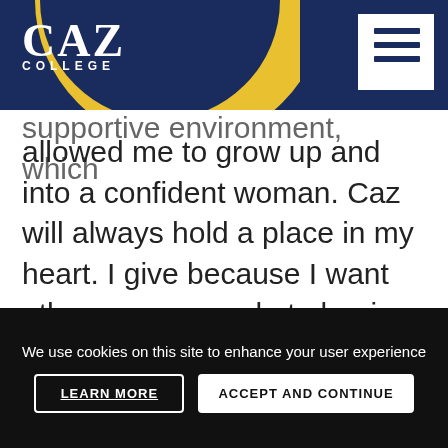CAZ COLLEGE
supportive environment, which allowed me to grow up and into a confident woman. Caz will always hold a place in my heart. I give because I want other young people to begin their adult lives with a great education and the supportive environment that Caz provides."
Corinne Blais '83
[Figure (photo): Colorful image strip showing decorative/photographic content with red, green, and blue tones]
We use cookies on this site to enhance your user experience
LEARN MORE
ACCEPT AND CONTINUE